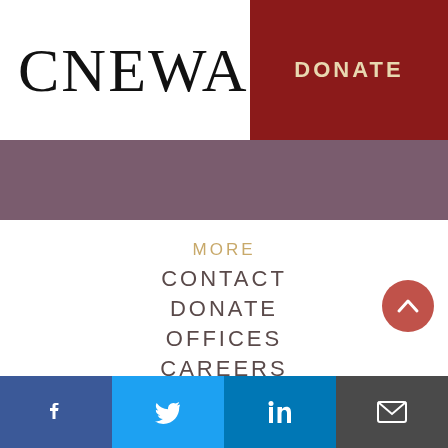CNEWA
DONATE
MORE
CONTACT
DONATE
OFFICES
CAREERS
SOCIAL
Facebook, Twitter, LinkedIn, Email